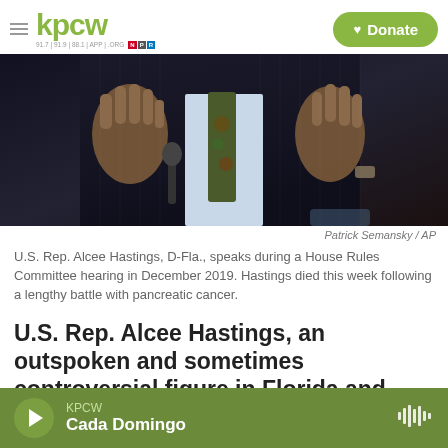KPCW — 91.7 | 91.9 | 88.1 | APP | .ORG  NPR  Donate
[Figure (photo): A man in a dark pinstripe suit and colorful tie gestures with both hands raised, palms outward, speaking at what appears to be a congressional hearing. A microphone is visible to his left.]
Patrick Semansky / AP
U.S. Rep. Alcee Hastings, D-Fla., speaks during a House Rules Committee hearing in December 2019. Hastings died this week following a lengthy battle with pancreatic cancer.
U.S. Rep. Alcee Hastings, an outspoken and sometimes controversial figure in Florida and Washington, D.C., has died after battling pancreatic
KPCW — Cada Domingo